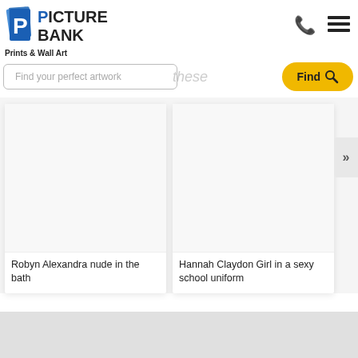[Figure (logo): Picture Bank logo with blue P icon and bold text PICTURE BANK]
Prints & Wall Art
[Figure (other): Phone icon (call button)]
[Figure (other): Hamburger menu icon]
Find your perfect artwork
these
Find
[Figure (photo): Blank white artwork card placeholder - Robyn Alexandra nude in the bath]
Robyn Alexandra nude in the bath
[Figure (photo): Blank white artwork card placeholder - Hannah Claydon Girl in a sexy school uniform]
Hannah Claydon Girl in a sexy school uniform